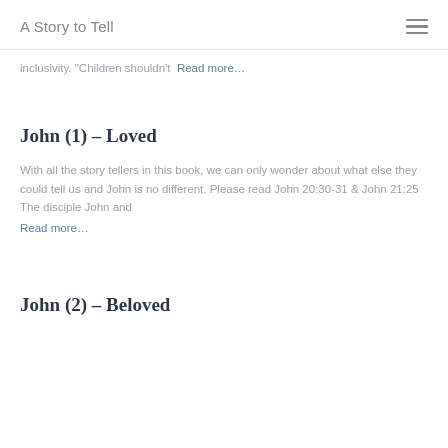A Story to Tell
inclusivity. "Children shouldn't  Read more...
John (1) – Loved
With all the story tellers in this book, we can only wonder about what else they could tell us and John is no different. Please read John 20:30-31 & John 21:25 The disciple John and  Read more...
John (2) – Beloved